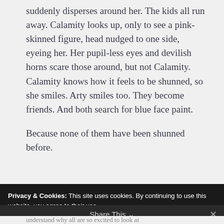suddenly disperses around her. The kids all run away. Calamity looks up, only to see a pink-skinned figure, head nudged to one side, eyeing her. Her pupil-less eyes and devilish horns scare those around, but not Calamity. Calamity knows how it feels to be shunned, so she smiles. Arty smiles too. They become friends. And both search for blue face paint.

Because none of them have been shunned before.
Privacy & Cookies: This site uses cookies. By continuing to use this website, you agree to their use.
To find out more, including how to control cookies, see here: Cookie Policy
Share This
understand why all are so excited to look at